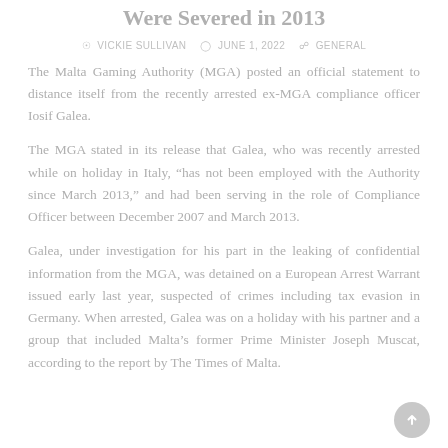Were Severed in 2013
VICKIE SULLIVAN   JUNE 1, 2022   GENERAL
The Malta Gaming Authority (MGA) posted an official statement to distance itself from the recently arrested ex-MGA compliance officer Iosif Galea.
The MGA stated in its release that Galea, who was recently arrested while on holiday in Italy, “has not been employed with the Authority since March 2013,” and had been serving in the role of Compliance Officer between December 2007 and March 2013.
Galea, under investigation for his part in the leaking of confidential information from the MGA, was detained on a European Arrest Warrant issued early last year, suspected of crimes including tax evasion in Germany. When arrested, Galea was on a holiday with his partner and a group that included Malta’s former Prime Minister Joseph Muscat, according to the report by The Times of Malta.